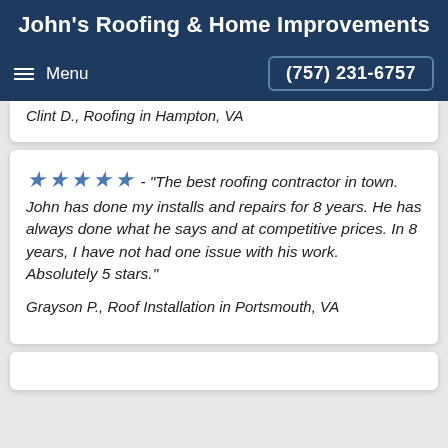John's Roofing & Home Improvements
Menu   (757) 231-6757
Clint D., Roofing in Hampton, VA
★★★★★ - "The best roofing contractor in town. John has done my installs and repairs for 8 years. He has always done what he says and at competitive prices. In 8 years, I have not had one issue with his work. Absolutely 5 stars."
Grayson P., Roof Installation in Portsmouth, VA